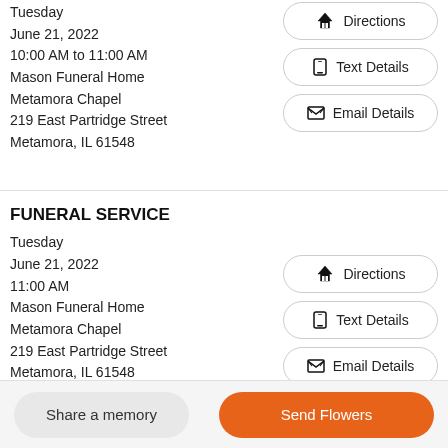Tuesday
June 21, 2022
10:00 AM to 11:00 AM
Mason Funeral Home
Metamora Chapel
219 East Partridge Street
Metamora, IL 61548
Directions
Text Details
Email Details
FUNERAL SERVICE
Tuesday
June 21, 2022
11:00 AM
Mason Funeral Home
Metamora Chapel
219 East Partridge Street
Metamora, IL 61548
Directions
Text Details
Email Details
Share a memory
Send Flowers